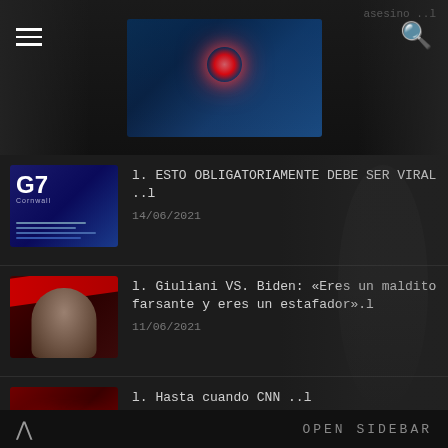[Figure (screenshot): Top banner with dark background showing a glowing red light/button image in the center]
l. ESTO OBLIGATORIAMENTE DEBE SER VIRAL ..l
14/06/2021
l. Giuliani VS. Biden: «Eres un maldito farsante y eres un estafador».l
11/06/2021
l. Hasta cuando CNN ..l
11/06/2021
l. Señores Presidentes - peligro inminente ..l
OPEN SIDEBAR